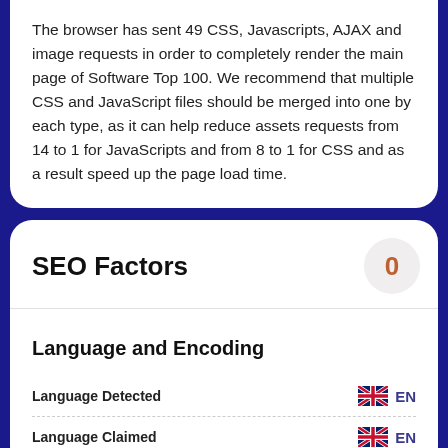The browser has sent 49 CSS, Javascripts, AJAX and image requests in order to completely render the main page of Software Top 100. We recommend that multiple CSS and JavaScript files should be merged into one by each type, as it can help reduce assets requests from 14 to 1 for JavaScripts and from 8 to 1 for CSS and as a result speed up the page load time.
SEO Factors
Language and Encoding
Language Detected EN
Language Claimed EN